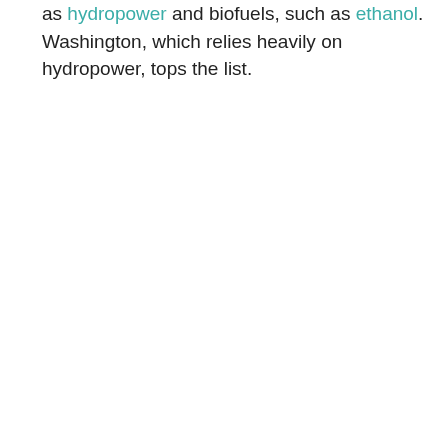as hydropower and biofuels, such as ethanol. Washington, which relies heavily on hydropower, tops the list.